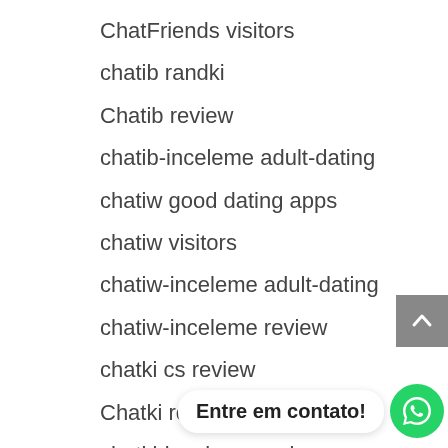ChatFriends visitors
chatib randki
Chatib review
chatib-inceleme adult-dating
chatiw good dating apps
chatiw visitors
chatiw-inceleme adult-dating
chatiw-inceleme review
chatki cs review
Chatki review
chatki-inceleme review
chatrandom ir
chatrandom pl review